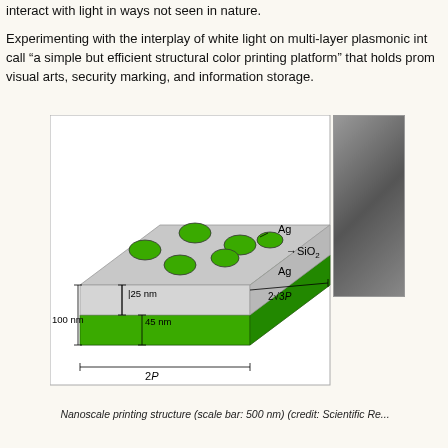interact with light in ways not seen in nature.
Experimenting with the interplay of white light on multi-layer plasmonic int... call "a simple but efficient structural color printing platform" that holds prom... visual arts, security marking, and information storage.
[Figure (engineering-diagram): 3D schematic of a nanoscale printing structure showing a multi-layer plasmonic device with silver (Ag) top and bottom layers separated by a SiO2 spacer layer. The top silver layer (25 nm) has hexagonal holes drilled through it. The bottom silver layer is 100 nm thick. The SiO2 spacer is 45 nm. Dimensions 2P and 2√3·P are labeled. Labels: Ag, SiO2, Ag, 25 nm, 45 nm, 100 nm, 2P, 2√3P.]
Nanoscale printing structure (scale bar: 500 nm) (credit: Scientific Re...
The printing surface consists of a sandwich-like structure made up of two thi... silica. The top layer of silver film is 25 nanometers thick and is punctured wit... known as focused ion beam milling. The bottom layer of silver is four times t... 100 nanometers. Between the top and bottom films lies a 45-nanometer sili...
The researchers created a scaled-down template of the athletic logo and dri... metamaterial structure. Under a scanning electron microscope, the templat...